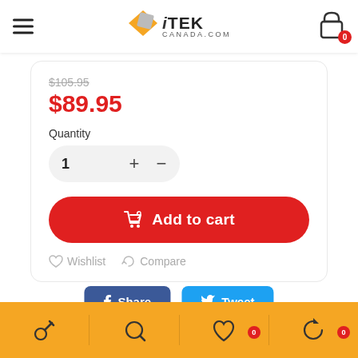iTEK CANADA.COM
$105.95
$89.95
Quantity
1
Add to cart
Wishlist  Compare
Share  Tweet
Bottom navigation bar with icons